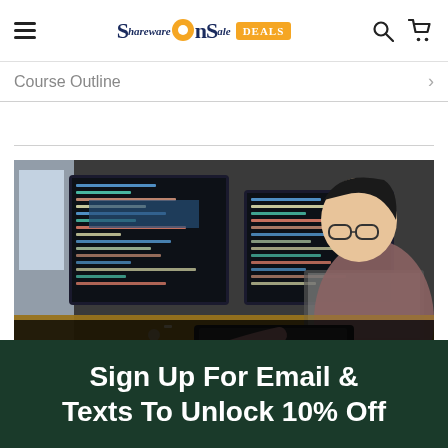SharwareOnSale DEALS
Course Outline
[Figure (photo): Person sitting at desk working on multiple monitors displaying code, viewed from behind and slightly to the right. Dark coding environment on screens.]
Sign Up For Email & Texts To Unlock 10% Off